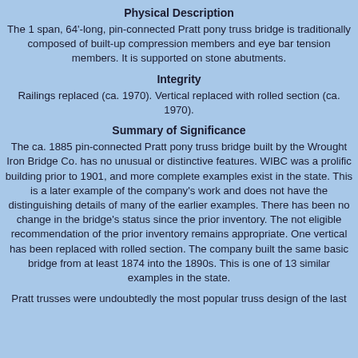Physical Description
The 1 span, 64'-long, pin-connected Pratt pony truss bridge is traditionally composed of built-up compression members and eye bar tension members. It is supported on stone abutments.
Integrity
Railings replaced (ca. 1970). Vertical replaced with rolled section (ca. 1970).
Summary of Significance
The ca. 1885 pin-connected Pratt pony truss bridge built by the Wrought Iron Bridge Co. has no unusual or distinctive features. WIBC was a prolific building prior to 1901, and more complete examples exist in the state. This is a later example of the company's work and does not have the distinguishing details of many of the earlier examples. There has been no change in the bridge's status since the prior inventory. The not eligible recommendation of the prior inventory remains appropriate. One vertical has been replaced with rolled section. The company built the same basic bridge from at least 1874 into the 1890s. This is one of 13 similar examples in the state.
Pratt trusses were undoubtedly the most popular truss design of the last